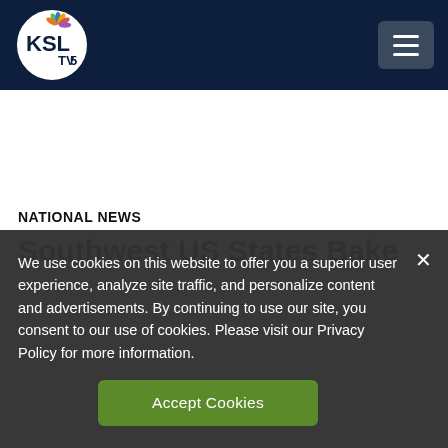[Figure (logo): KSL TV 5 NBC logo in white circle on dark navy header with hamburger menu button]
NATIONAL NEWS
Southwest US States Bake
We use cookies on this website to offer you a superior user experience, analyze site traffic, and personalize content and advertisements. By continuing to use our site, you consent to our use of cookies. Please visit our Privacy Policy for more information.
Accept Cookies